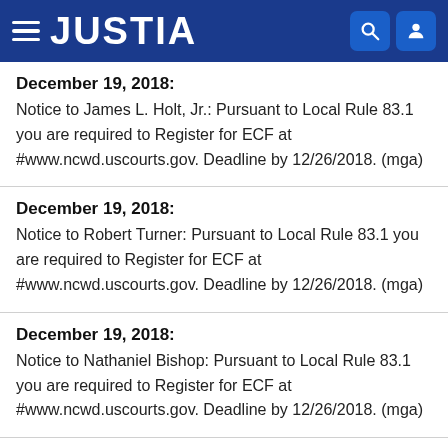JUSTIA
December 19, 2018:
Notice to James L. Holt, Jr.: Pursuant to Local Rule 83.1 you are required to Register for ECF at #www.ncwd.uscourts.gov. Deadline by 12/26/2018. (mga)
December 19, 2018:
Notice to Robert Turner: Pursuant to Local Rule 83.1 you are required to Register for ECF at #www.ncwd.uscourts.gov. Deadline by 12/26/2018. (mga)
December 19, 2018:
Notice to Nathaniel Bishop: Pursuant to Local Rule 83.1 you are required to Register for ECF at #www.ncwd.uscourts.gov. Deadline by 12/26/2018. (mga)